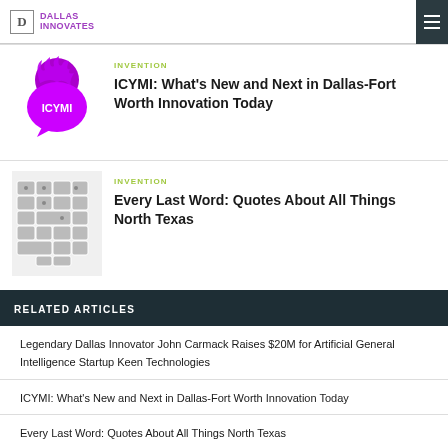DALLAS INNOVATES
[Figure (illustration): ICYMI logo: purple speech bubble with flame on top, text ICYMI inside]
INVENTION
ICYMI: What's New and Next in Dallas-Fort Worth Innovation Today
[Figure (illustration): Gray map illustration of Texas counties with speech bubble shapes]
INVENTION
Every Last Word: Quotes About All Things North Texas
RELATED ARTICLES
Legendary Dallas Innovator John Carmack Raises $20M for Artificial General Intelligence Startup Keen Technologies
ICYMI: What's New and Next in Dallas-Fort Worth Innovation Today
Every Last Word: Quotes About All Things North Texas
Apply Now: